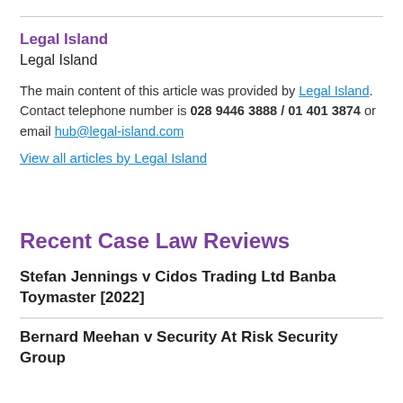Legal Island
Legal Island
The main content of this article was provided by Legal Island. Contact telephone number is 028 9446 3888 / 01 401 3874 or email hub@legal-island.com
View all articles by Legal Island
Recent Case Law Reviews
Stefan Jennings v Cidos Trading Ltd Banba Toymaster [2022]
Bernard Meehan v Security At Risk Security Group [2022]